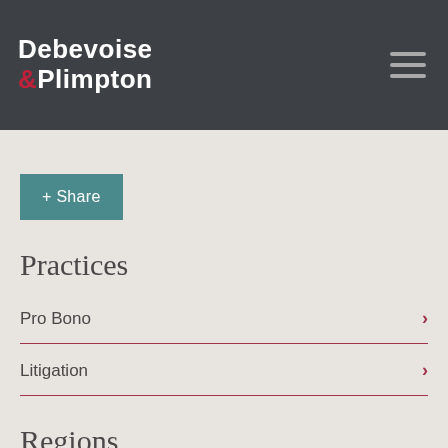Debevoise & Plimpton
+ Share
Practices
Pro Bono
Litigation
Regions
US/North America